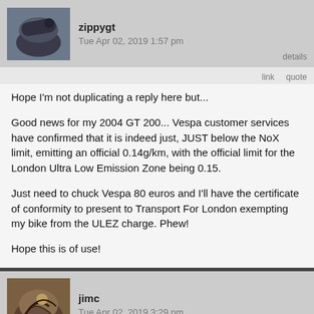zippygt — Tue Apr 02, 2019 1:57 pm
Hope I'm not duplicating a reply here but...

Good news for my 2004 GT 200... Vespa customer services have confirmed that it is indeed just, JUST below the NoX limit, emitting an official 0.14g/km, with the official limit for the London Ultra Low Emission Zone being 0.15.

Just need to chuck Vespa 80 euros and I'll have the certificate of conformity to present to Transport For London exempting my bike from the ULEZ charge. Phew!

Hope this is of use!
jimc — Tue Apr 02, 2019 3:29 pm